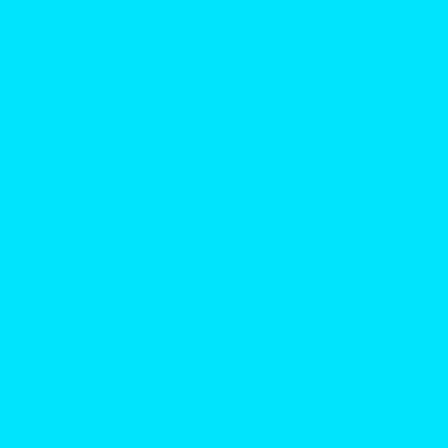'./sarvajan_ambedkar_org/wp_comments
SELECT COUNT(comment_ID) R
comment_post_ID = 5299 AND co
WordPre
'./sarvajan_ambedkar_org/wp_comments
SELECT COUNT(*) FROM wp_comments WH
'5299' AND c
0 4 / 2 9 / 1 8
2607 Apr 30 Mon LE
Wishing everyone a
Pournami and a hap
Purnima/Vesak 30-4
Monday 09:00 AM V
Bodhi Society 14, K
Gandhinaaar Ben